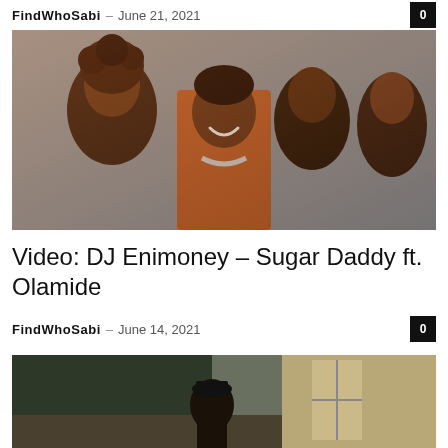FindWhoSabi – June 21, 2021
[Figure (photo): Music video still showing a man in sunglasses and orange outfit with three women around him]
Video: DJ Enimoney – Sugar Daddy ft. Olamide
FindWhoSabi – June 14, 2021
[Figure (photo): Music video still showing figures in a room with green walls and a window]